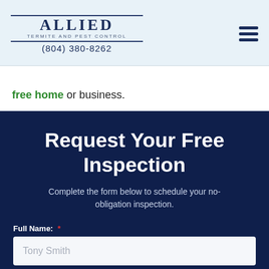Allied Termite and Pest Control (804) 380-8262
free home or business.
Request Your Free Inspection
Complete the form below to schedule your no-obligation inspection.
Full Name: * Tony Smith